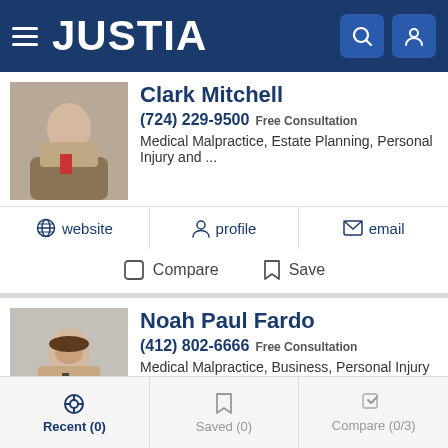JUSTIA
Clark Mitchell
(724) 229-9500 Free Consultation
Medical Malpractice, Estate Planning, Personal Injury and ...
website | profile | email
Compare | Save
Noah Paul Fardo
(412) 802-6666 Free Consultation
Medical Malpractice, Business, Personal Injury and Real Est...
website | profile | email
Compare | Save
Recent (0) | Saved (0) | Compare (0/3)